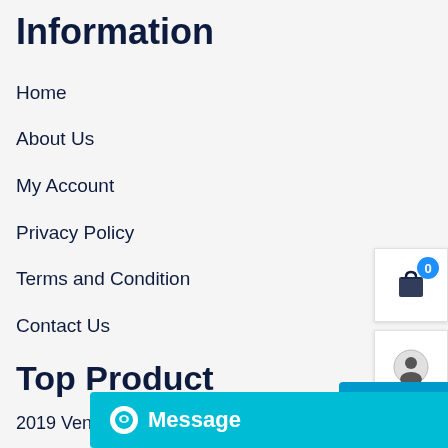Information
Home
About Us
My Account
Privacy Policy
Terms and Condition
Contact Us
Top Product
2019 Venus Concept Neo Graft 2.0